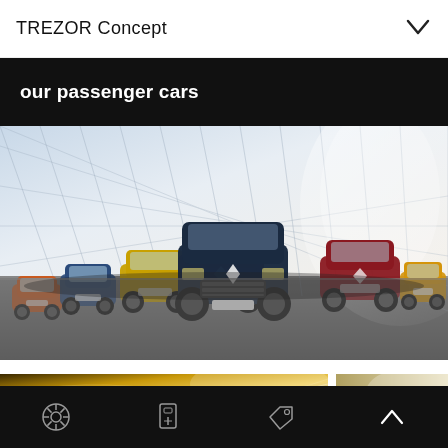TREZOR Concept
our passenger cars
[Figure (photo): Multiple Renault passenger cars displayed in a showroom with a large geometric glass ceiling, viewed from the front, arranged in a semicircle with a large dark SUV in the center]
[Figure (photo): Partial view of the TREZOR Concept car interior or exterior detail, showing golden/yellow lighting and curved body lines]
Navigation icons: wheel/settings icon, charging station icon, tag/price icon, up chevron icon